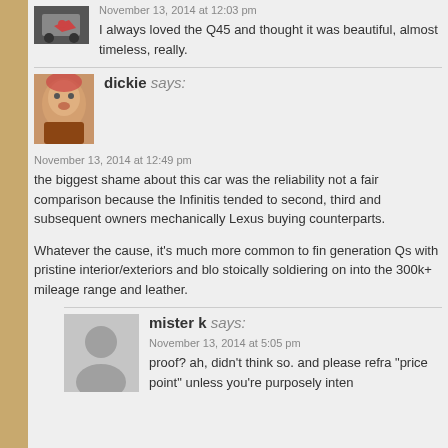November 13, 2014 at 12:03 pm
I always loved the Q45 and thought it was beautiful, almost timeless, really.
dickie says:
November 13, 2014 at 12:49 pm
the biggest shame about this car was the reliability not a fair comparison because the Infinitis tended to second, third and subsequent owners mechanically Lexus buying counterparts.
Whatever the cause, it's much more common to find generation Qs with pristine interior/exteriors and blo stoically soldiering on into the 300k+ mileage range and leather.
mister k says:
November 13, 2014 at 5:05 pm
proof? ah, didn't think so. and please refra "price point" unless you're purposely inten